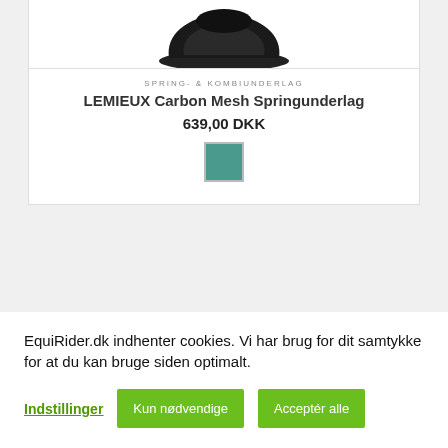[Figure (photo): Partial top view of a black equestrian helmet/hat product image, cropped at the top of the card.]
SPRING- & KOMBIUNDERLAG
LEMIEUX Carbon Mesh Springunderlag
639,00 DKK
[Figure (other): Teal/green color swatch square for product color selection.]
[Figure (photo): Partial view of a second equestrian product (dark red/maroon handle visible), cropped at the bottom of the page.]
EquiRider.dk indhenter cookies. Vi har brug for dit samtykke for at du kan bruge siden optimalt.
Indstillinger
Kun nødvendige
Acceptér alle